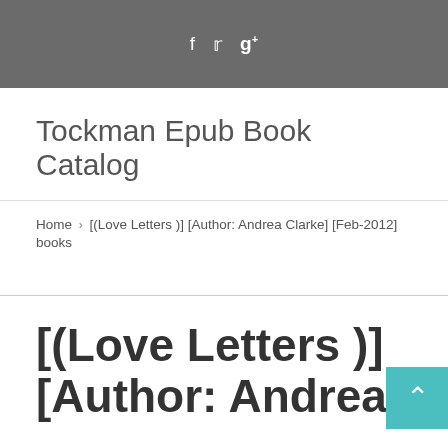f  ✓  g+
Tockman Epub Book Catalog
Home › [(Love Letters )] [Author: Andrea Clarke] [Feb-2012] books
[(Love Letters )] [Author: Andrea